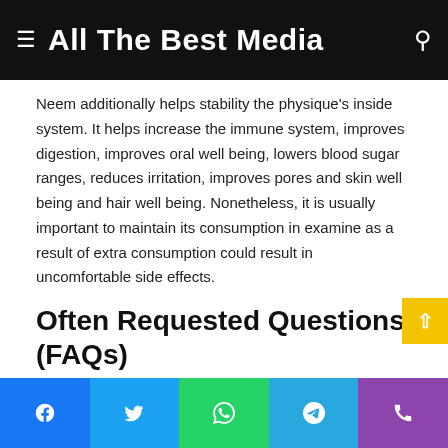All The Best Media
Neem additionally helps stability the physique's inside system. It helps increase the immune system, improves digestion, improves oral well being, lowers blood sugar ranges, reduces irritation, improves pores and skin well being and hair well being. Nonetheless, it is usually important to maintain its consumption in examine as a result of extra consumption could result in uncomfortable side effects.
Often Requested Questions (FAQs)
1. Can we drink neem juice each day?
Facebook Twitter WhatsApp Telegram Phone